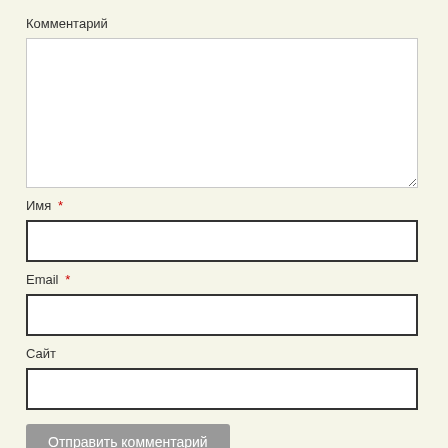Комментарий
[Figure (screenshot): Large textarea input field for comment, white background with light border]
Имя *
[Figure (screenshot): Single-line text input field for name, white background with dark border]
Email *
[Figure (screenshot): Single-line text input field for email, white background with dark border]
Сайт
[Figure (screenshot): Single-line text input field for website, white background with dark border]
Отправить комментарий
Spam Protection by WP-SpamFree